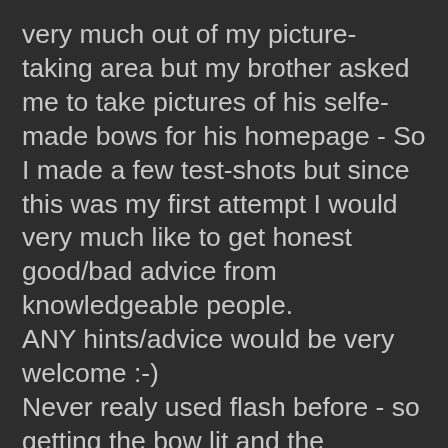very much out of my picture-taking area but my brother asked me to take pictures of his selfe-made bows for his homepage - So I made a few test-shots but since this was my first attempt I would very much like to get honest good/bad advice from knowledgeable people.
ANY hints/advice would be very welcome :-)
Never realy used flash before - so getting the bow lit and the background nice and dark/black was very challenging.